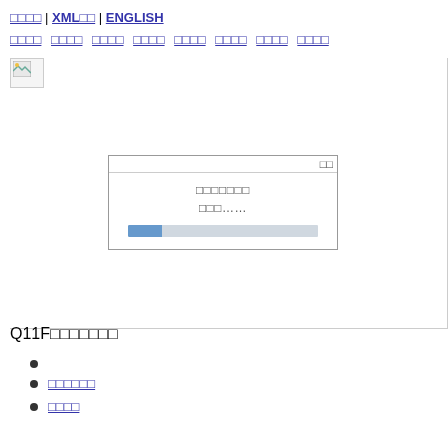□□□□ | XML□□ | ENGLISH
□□□□ □□□□ □□□□ □□□□ □□□□ □□□□ □□□□ □□□□
[Figure (screenshot): Broken image icon in top-left of content area]
[Figure (screenshot): Dialog box showing loading progress with text and a progress bar partially filled in blue]
Q11F□□□□□□□
□□□□□□
□□□□